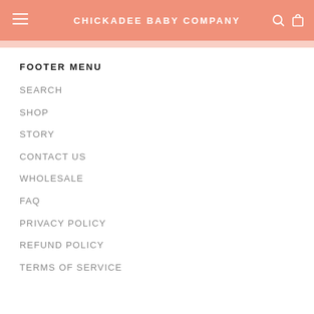CHICKADEE BABY COMPANY
FOOTER MENU
SEARCH
SHOP
STORY
CONTACT US
WHOLESALE
FAQ
PRIVACY POLICY
REFUND POLICY
TERMS OF SERVICE